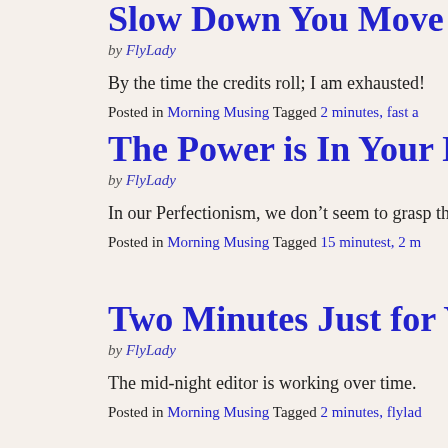Slow Down You Move Too F
by FlyLady
By the time the credits roll; I am exhausted!
Posted in Morning Musing Tagged 2 minutes, fast a
The Power is In Your Hands
by FlyLady
In our Perfectionism, we don’t seem to grasp the sim
Posted in Morning Musing Tagged 15 minutest, 2 m
Two Minutes Just for You
by FlyLady
The mid-night editor is working over time.
Posted in Morning Musing Tagged 2 minutes, flylad